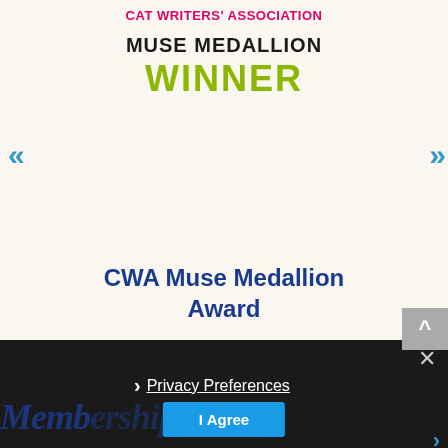CAT WRITERS' ASSOCIATION
MUSE MEDALLION WINNER
CWA Muse Medallion Award
› Privacy Preferences
I Agree
Memberships